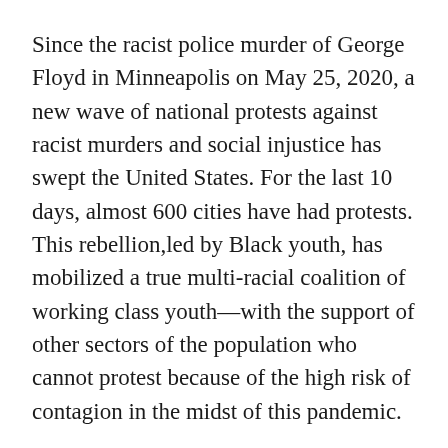Since the racist police murder of George Floyd in Minneapolis on May 25, 2020, a new wave of national protests against racist murders and social injustice has swept the United States. For the last 10 days, almost 600 cities have had protests. This rebellion,led by Black youth, has mobilized a true multi-racial coalition of working class youth—with the support of other sectors of the population who cannot protest because of the high risk of contagion in the midst of this pandemic.
In response, more than 76,000 National Guard troops have been mobilized in 33 U.S. states,